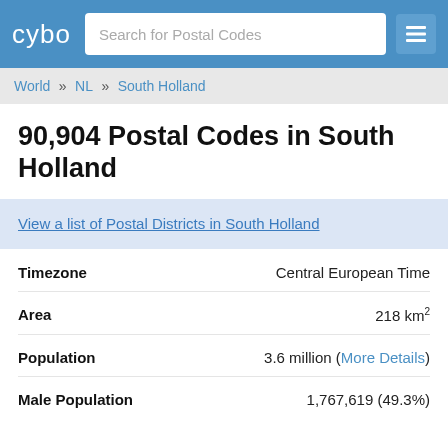cybo | Search for Postal Codes
World » NL » South Holland
90,904 Postal Codes in South Holland
View a list of Postal Districts in South Holland
| Label | Value |
| --- | --- |
| Timezone | Central European Time |
| Area | 218 km² |
| Population | 3.6 million (More Details) |
| Male Population | 1,767,619 (49.3%) |